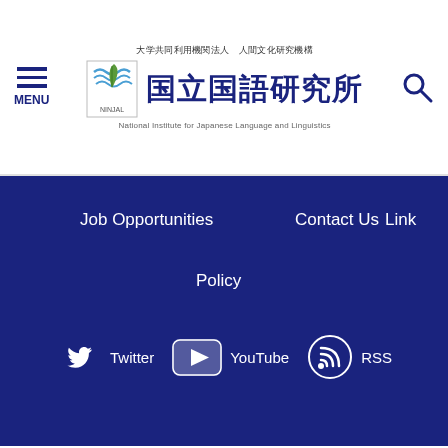大学共同利用機関法人 人間文化研究機構 国立国語研究所 NINJAL National Institute for Japanese Language and Linguistics MENU
Job Opportunities
Contact Us
Link
Policy
[Figure (logo): Twitter bird icon]
Twitter
[Figure (logo): YouTube play button icon]
YouTube
[Figure (logo): RSS feed icon]
RSS
National Institute for Japanese Language and Linguistics
〒190-8561
10-2 Midori-cho, Tachikawa City, Tokyo, 190-8561